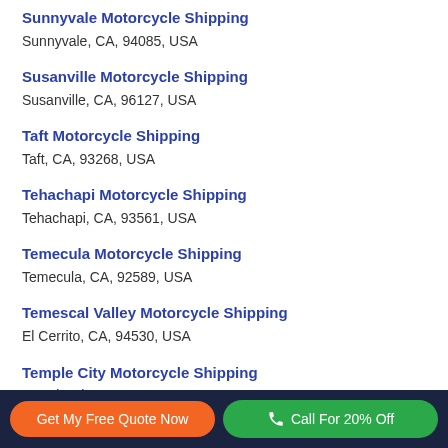Sunnyvale Motorcycle Shipping
Sunnyvale, CA, 94085, USA
Susanville Motorcycle Shipping
Susanville, CA, 96127, USA
Taft Motorcycle Shipping
Taft, CA, 93268, USA
Tehachapi Motorcycle Shipping
Tehachapi, CA, 93561, USA
Temecula Motorcycle Shipping
Temecula, CA, 92589, USA
Temescal Valley Motorcycle Shipping
El Cerrito, CA, 94530, USA
Temple City Motorcycle Shipping
Temple City, CA, 91780, USA
Get My Free Quote Now   Call For 20% Off